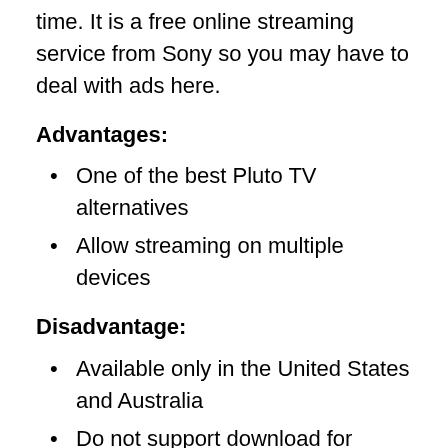time. It is a free online streaming service from Sony so you may have to deal with ads here.
Advantages:
One of the best Pluto TV alternatives
Allow streaming on multiple devices
Disadvantage:
Available only in the United States and Australia
Do not support download for offline playback
Final words